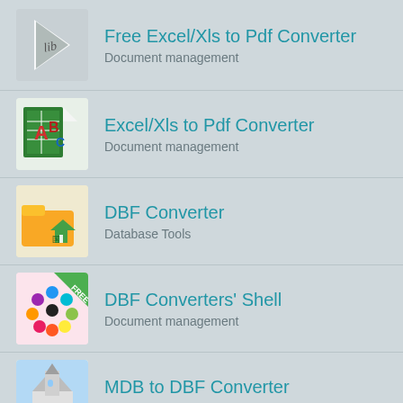Free Excel/Xls to Pdf Converter
Document management
Excel/Xls to Pdf Converter
Document management
DBF Converter
Database Tools
DBF Converters' Shell
Document management
MDB to DBF Converter
Database Tools